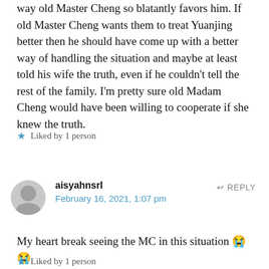way old Master Cheng so blatantly favors him. If old Master Cheng wants them to treat Yuanjing better then he should have come up with a better way of handling the situation and maybe at least told his wife the truth, even if he couldn't tell the rest of the family. I'm pretty sure old Madam Cheng would have been willing to cooperate if she knew the truth.
★ Liked by 1 person
aisyahnsrl
February 16, 2021, 1:07 pm
↩ REPLY
My heart break seeing the MC in this situation 😭😭
★ Liked by 1 person